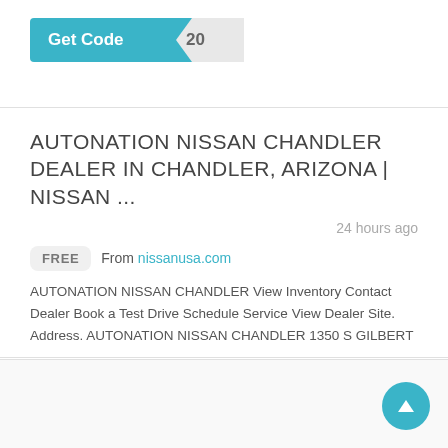[Figure (other): Get Code button with partial code reveal showing '20', teal background with arrow-notched reveal panel]
AUTONATION NISSAN CHANDLER DEALER IN CHANDLER, ARIZONA | NISSAN ...
24 hours ago
FREE  From nissanusa.com
AUTONATION NISSAN CHANDLER View Inventory Contact Dealer Book a Test Drive Schedule Service View Dealer Site. Address. AUTONATION NISSAN CHANDLER 1350 S GILBERT ... ...
[Figure (other): Get Code button with partial code reveal showing 'de', teal background with arrow-notched reveal panel]